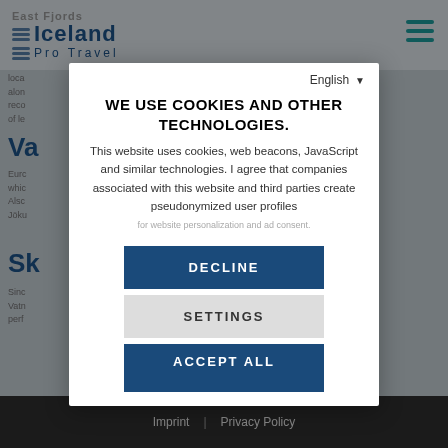East Fjords Iceland Pro Travel
loca...ving along...ghly reco...not of le...
Va...
Euro...tres, whic...and. Also...park Jöku...
Sk...
Sinc...gger Vatn...is a perf...uch
English
WE USE COOKIES AND OTHER TECHNOLOGIES.
This website uses cookies, web beacons, JavaScript and similar technologies. I agree that companies associated with this website and third parties create pseudonymized user profiles for website personalization and ad consent.
DECLINE
SETTINGS
ACCEPT ALL
Imprint | Privacy Policy